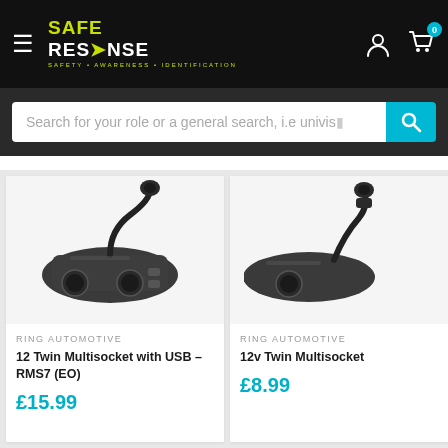Safe Response — Safety • Awareness • Identification
Search for your role or a general search, i.e univiso
[Figure (photo): Car 12 Twin Multisocket with USB adapter (RMS7 EO), black plastic unit with cable and cigarette lighter plug]
RING AUTOMOTIVE
12 Twin Multisocket with USB – RMS7 (EO)
£15.99
[Figure (photo): 12v Twin Multisocket car adapter, black plastic unit with cigarette lighter plug (partial, cropped at right edge)]
RING AUTOMOTIVE
12v Twin Multisocket
£8.99